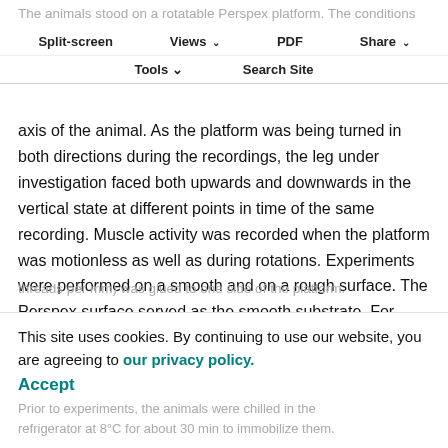The animals stood on a rotatable Perspex platform. The conditions including the horizontal surface as well as clinging to a vertical wall and to a ceiling, could be mimicked by rotating the platform accordingly around the longitudinal
Split-screen | Views | PDF | Share | Tools | Search Site
axis of the animal. As the platform was being turned in both directions during the recordings, the leg under investigation faced both upwards and downwards in the vertical state at different points in time of the same recording. Muscle activity was recorded when the platform was motionless as well as during rotations. Experiments were performed on a smooth and on a rough surface. The Perspex surface served as the smooth substrate. For simulating a rough surface, a piece of cotton fabric (2.9
threads per mm) was glued to one side of the platform.
This site uses cookies. By continuing to use our website, you are agreeing to our privacy policy. Accept
Prior to experiments, the animals were chilled in the refrigerator at 8°C for about 30 min to immobilize them.